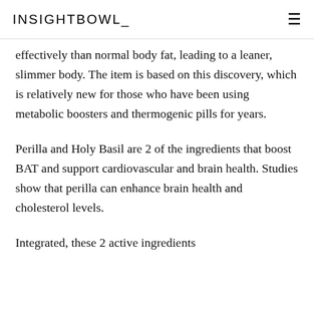INSIGHTBOWL
effectively than normal body fat, leading to a leaner, slimmer body. The item is based on this discovery, which is relatively new for those who have been using metabolic boosters and thermogenic pills for years.
Perilla and Holy Basil are 2 of the ingredients that boost BAT and support cardiovascular and brain health. Studies show that perilla can enhance brain health and cholesterol levels.
Integrated, these 2 active ingredients